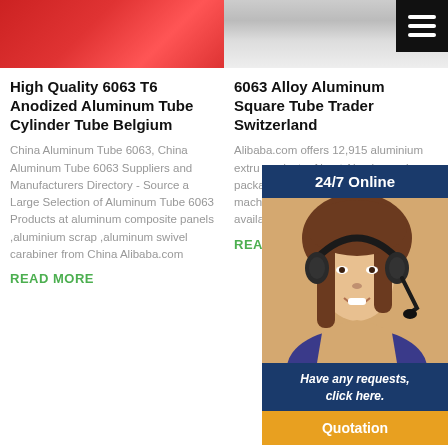[Figure (photo): Red anodized aluminum tube surface close-up]
[Figure (photo): Silver/gray aluminum square tube]
High Quality 6063 T6 Anodized Aluminum Tube Cylinder Tube Belgium
6063 Alloy Aluminum Square Tube Trader Switzerland
China Aluminum Tube 6063, China Aluminum Tube 6063 Suppliers and Manufacturers Directory - Source a Large Selection of Aluminum Tube 6063 Products at aluminum composite panels ,aluminium scrap ,aluminum swivel carabiner from China Alibaba.com
Alibaba.com offers 12,915 aluminium extru products. About Aluminum pipes packaging tubes other metal & m machinery. A wid aluminium extru are available to y a53(a,b), q195, a
READ MORE
READ MORE
[Figure (photo): 24/7 Online customer service panel with woman wearing headset]
Have any requests, click here.
Quotation